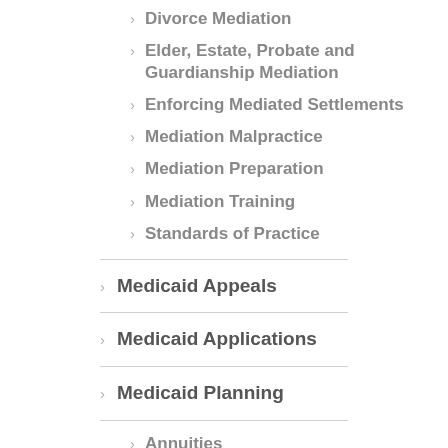Divorce Mediation
Elder, Estate, Probate and Guardianship Mediation
Enforcing Mediated Settlements
Mediation Malpractice
Mediation Preparation
Mediation Training
Standards of Practice
Medicaid Appeals
Medicaid Applications
Medicaid Planning
Annuities
Care Contracts
Divorce